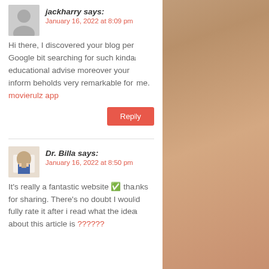jackharry says:
January 16, 2022 at 8:09 pm
Hi there, I discovered your blog per Google bit searching for such kinda educational advise moreover your inform beholds very remarkable for me. movierulz app
Reply
Dr. Billa says:
January 16, 2022 at 8:50 pm
It's really a fantastic website ✅ thanks for sharing. There's no doubt I would fully rate it after i read what the idea about this article is ??????